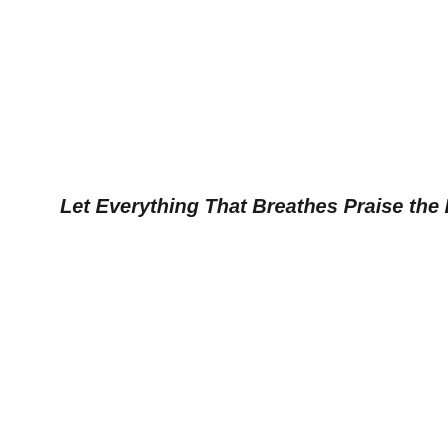Let Everything That Breathes Praise the Lord